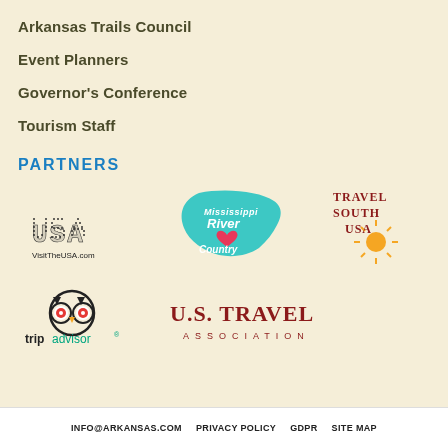Arkansas Trails Council
Event Planners
Governor's Conference
Tourism Staff
PARTNERS
[Figure (logo): VisitTheUSA.com logo with dotted USA text]
[Figure (logo): Mississippi River Country logo with teal map shape]
[Figure (logo): Travel South USA logo in dark red/maroon]
[Figure (logo): TripAdvisor logo with owl icon]
[Figure (logo): U.S. Travel Association logo in dark red]
INFO@ARKANSAS.COM   PRIVACY POLICY   GDPR   SITE MAP